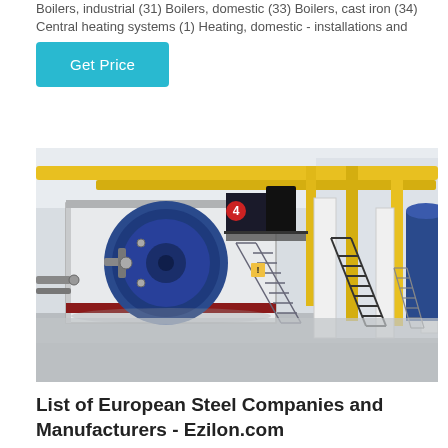Boilers, industrial (31) Boilers, domestic (33) Boilers, cast iron (34) Central heating systems (1) Heating, domestic - installations and
[Figure (photo): Industrial boiler room with large blue cylindrical boilers, yellow overhead pipes, metal staircases and ladders, white structural columns, concrete floor]
List of European Steel Companies and Manufacturers - Ezilon.com